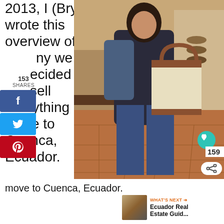2013, I (Bryan) wrote this overview of why we decided sell everything and move to Cuenca, Ecuador.
[Figure (photo): A woman in a market or shop carrying a large tote bag and backpack, looking down at her bag. Interior of a shop with terracotta tile floor and items on display.]
153 SHARES
WHAT'S NEXT → Ecuador Real Estate Guid...